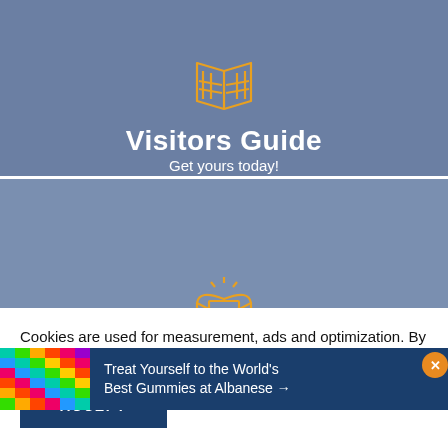[Figure (illustration): Orange line-art icon of a folded map/book on blue-grey background]
Visitors Guide
Get yours today!
[Figure (illustration): Orange line-art icon of an open envelope with a letter and sparkle lines on blue-grey background]
E-Newsletter
Sign up for free!
[Figure (photo): Colorful gummy candy close-up photograph on dark blue advertisement banner]
Treat Yourself to the World's Best Gummies at Albanese →
Cookies are used for measurement, ads and optimization. By continuing to use our site you agree to our privacy policy.
ACCEPT